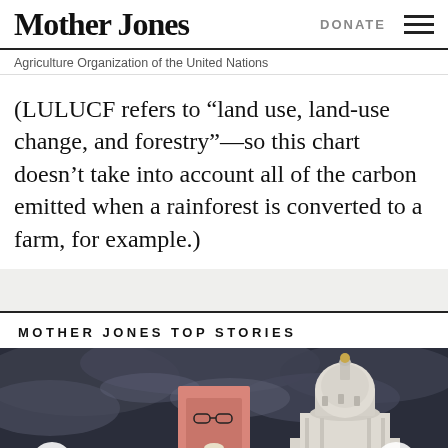Mother Jones | DONATE
Agriculture Organization of the United Nations
(LULUCF refers to “land use, land-use change, and forestry”—so this chart doesn’t take into account all of the carbon emitted when a rainforest is converted to a farm, for example.)
MOTHER JONES TOP STORIES
[Figure (photo): A nighttime/stormy sky scene showing a Capitol dome building with a portrait of RBG (Ruth Bader Ginsburg) held in front, dark dramatic clouds in background.]